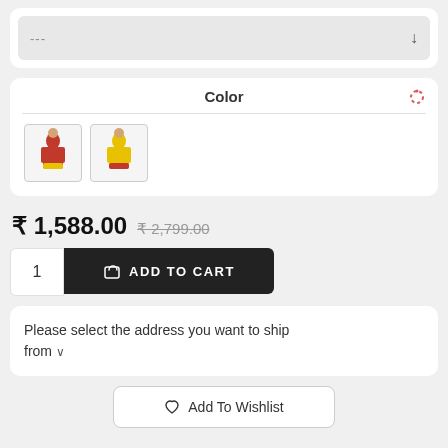[Figure (screenshot): Dropdown selector showing '---' with down arrow on grey background]
Color
[Figure (screenshot): Two color swatch thumbnails showing Indian ethnic wear outfits - one red, one yellow]
₹ 1,588.00  ₹ 2,799.00
1   ADD TO CART
Please select the address you want to ship from ∨
Add To Wishlist